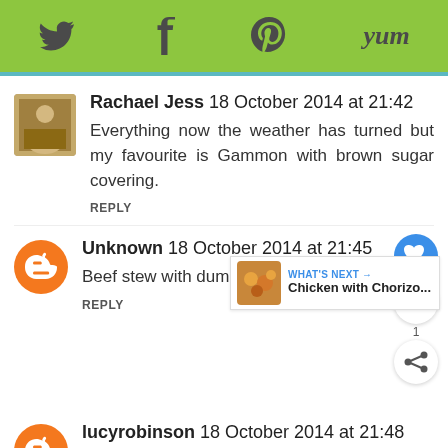Social share toolbar with Twitter, Facebook, Pinterest, Yum icons
Rachael Jess 18 October 2014 at 21:42
Everything now the weather has turned but my favourite is Gammon with brown sugar covering.
REPLY
Unknown 18 October 2014 at 21:45
Beef stew with dumplings xx
REPLY
WHAT'S NEXT → Chicken with Chorizo...
lucyrobinson 18 October 2014 at 21:48